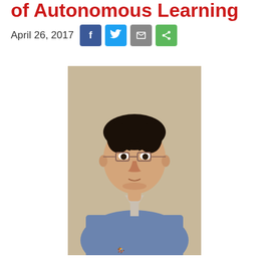of Autonomous Learning
April 26, 2017
[Figure (photo): Headshot of an East Asian man wearing glasses and a blue sweater over a collared shirt, standing against a beige background.]